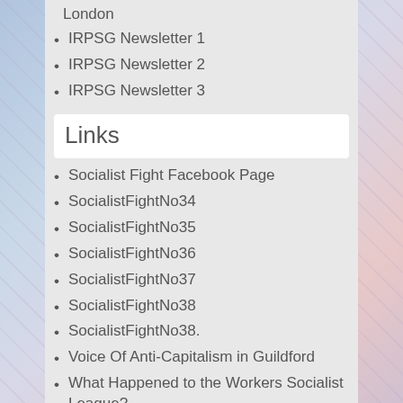London
IRPSG Newsletter 1
IRPSG Newsletter 2
IRPSG Newsletter 3
Links
Socialist Fight Facebook Page
SocialistFightNo34
SocialistFightNo35
SocialistFightNo36
SocialistFightNo37
SocialistFightNo38
SocialistFightNo38.
Voice Of Anti-Capitalism in Guildford
What Happened to the Workers Socialist League?